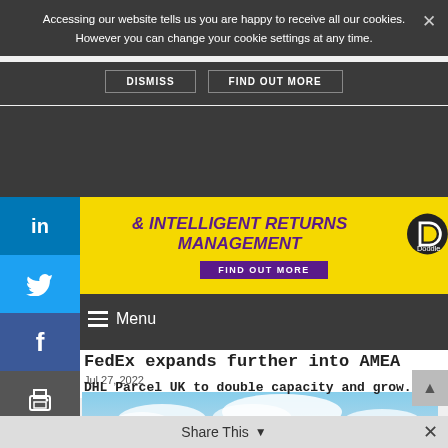Accessing our website tells us you are happy to receive all our cookies. However you can change your cookie settings at any time.
DISMISS   FIND OUT MORE
[Figure (screenshot): Yellow advertisement banner for Doddle with text '& INTELLIGENT RETURNS MANAGEMENT' and 'FIND OUT MORE' button]
Menu
FedEx expands further into AMEA
Jul 27, 2022
[Figure (photo): DHL building exterior with sky and clouds, red and yellow DHL branding visible]
DHL Parcel UK to double capacity and grow...
Share This